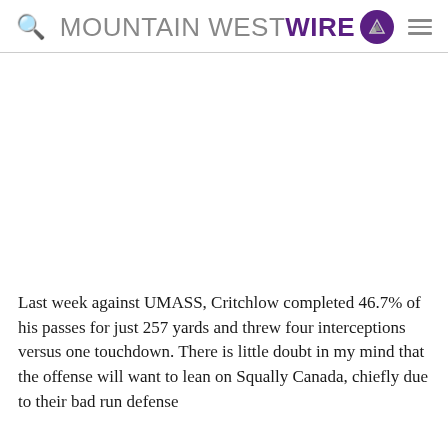MOUNTAIN WEST WIRE
[Figure (other): Advertisement or blank content area]
Last week against UMASS, Critchlow completed 46.7% of his passes for just 257 yards and threw four interceptions versus one touchdown. There is little doubt in my mind that the offense will want to lean on Squally Canada, chiefly due to their bad run defense